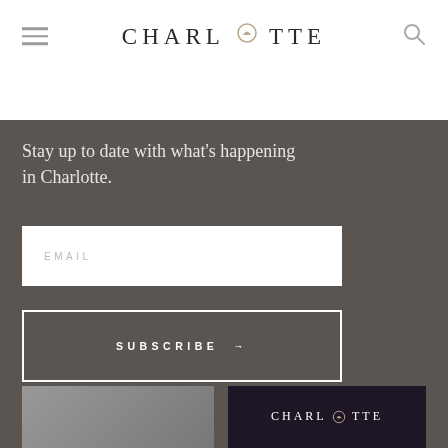CHARLOTTE
Stay up to date with what's happening in Charlotte.
EMAIL
SUBSCRIBE →
[Figure (photo): Thumbnail image left, gray]
[Figure (logo): Charlotte logo on dark background thumbnail]